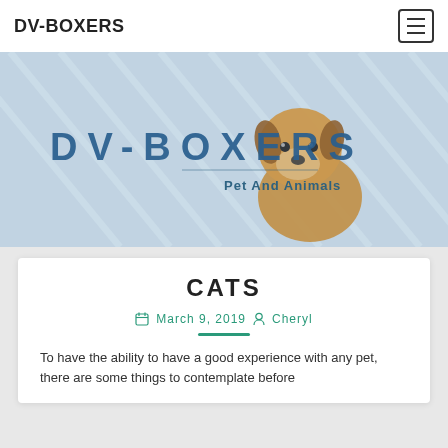DV-BOXERS
[Figure (photo): Hero banner with a puppy (small golden/brown dog) sitting against a background of white diagonal slats. Overlay text shows 'DV-BOXERS' and 'Pet And Animals'.]
DV-BOXERS
Pet And Animals
CATS
March 9, 2019  Cheryl
To have the ability to have a good experience with any pet, there are some things to contemplate before